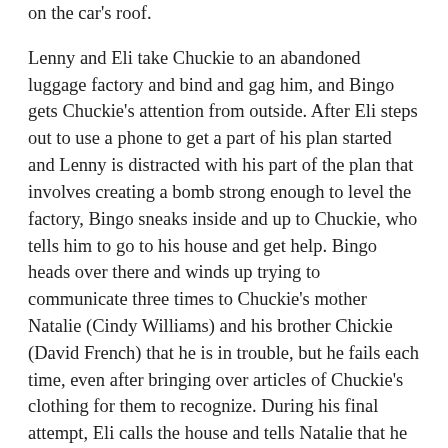on the car's roof.
Lenny and Eli take Chuckie to an abandoned luggage factory and bind and gag him, and Bingo gets Chuckie's attention from outside. After Eli steps out to use a phone to get a part of his plan started and Lenny is distracted with his part of the plan that involves creating a bomb strong enough to level the factory, Bingo sneaks inside and up to Chuckie, who tells him to go to his house and get help. Bingo heads over there and winds up trying to communicate three times to Chuckie's mother Natalie (Cindy Williams) and his brother Chickie (David French) that he is in trouble, but he fails each time, even after bringing over articles of Chuckie's clothing for them to recognize. During his final attempt, Eli calls the house and tells Natalie that he and Lenny have her son, and they